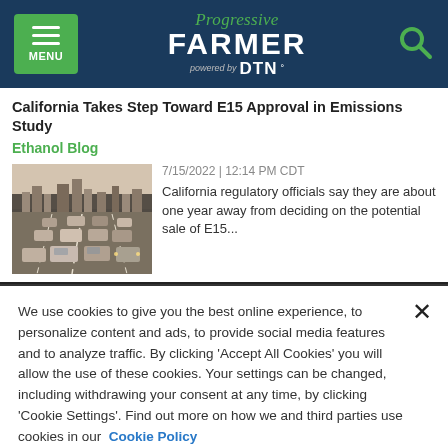Progressive Farmer powered by DTN
California Takes Step Toward E15 Approval in Emissions Study
Ethanol Blog
[Figure (photo): Traffic scene with cars on a highway in hazy/smoggy conditions, city skyline in background]
7/15/2022 | 12:14 PM CDT
California regulatory officials say they are about one year away from deciding on the potential sale of E15...
We use cookies to give you the best online experience, to personalize content and ads, to provide social media features and to analyze traffic. By clicking 'Accept All Cookies' you will allow the use of these cookies. Your settings can be changed, including withdrawing your consent at any time, by clicking 'Cookie Settings'. Find out more on how we and third parties use cookies in our  Cookie Policy